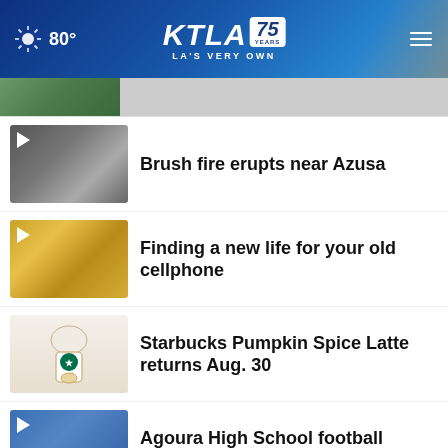KTLA 75 YEARS — LA'S VERY OWN | 80°
[Figure (screenshot): Partial thumbnail image at top]
Brush fire erupts near Azusa
Finding a new life for your old cellphone
Starbucks Pumpkin Spice Latte returns Aug. 30
Agoura High School football player dies at 15
Heat wave headed for SoCal; triple digits likely
[Figure (screenshot): Advertisement banner: THESHELTERPETPROJECT.ORG with close button and ad icons, BYU text visible]
game